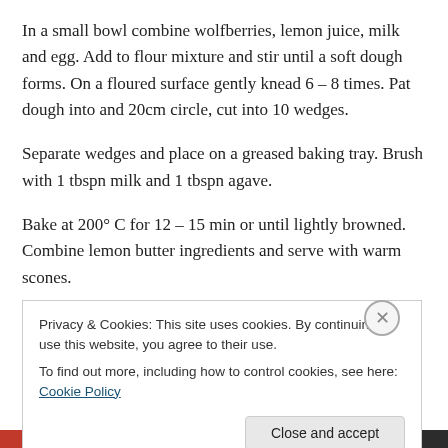In a small bowl combine wolfberries, lemon juice, milk and egg. Add to flour mixture and stir until a soft dough forms. On a floured surface gently knead 6 – 8 times. Pat dough into and 20cm circle, cut into 10 wedges.
Separate wedges and place on a greased baking tray. Brush with 1 tbspn milk and 1 tbspn agave.
Bake at 200° C for 12 – 15 min or until lightly browned. Combine lemon butter ingredients and serve with warm scones.
Privacy & Cookies: This site uses cookies. By continuing to use this website, you agree to their use.
To find out more, including how to control cookies, see here: Cookie Policy
Close and accept